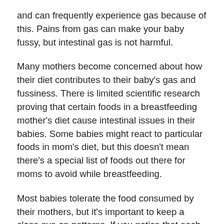and can frequently experience gas because of this. Pains from gas can make your baby fussy, but intestinal gas is not harmful.
Many mothers become concerned about how their diet contributes to their baby's gas and fussiness. There is limited scientific research proving that certain foods in a breastfeeding mother's diet cause intestinal issues in their babies. Some babies might react to particular foods in mom's diet, but this doesn't mean there's a special list of foods out there for moms to avoid while breastfeeding.
Most babies tolerate the food consumed by their mothers, but it's important to keep a close eye on patterns. If you notice that each time you eat something your baby becomes fussy, try avoiding the food for a while and see what happens. Many mothers have reported foods such as kale, spinach, beans, onions, garlic, peppers or spicy